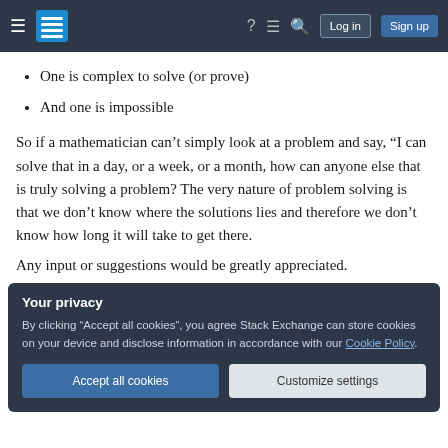Stack Exchange navigation bar with hamburger menu, logo, help, inbox, search icons, Log in and Sign up buttons
One is complex to solve (or prove)
And one is impossible
So if a mathematician can't simply look at a problem and say, “I can solve that in a day, or a week, or a month, how can anyone else that is truly solving a problem? The very nature of problem solving is that we don’t know where the solutions lies and therefore we don’t know how long it will take to get there.
Any input or suggestions would be greatly appreciated.
Your privacy
By clicking “Accept all cookies”, you agree Stack Exchange can store cookies on your device and disclose information in accordance with our Cookie Policy.